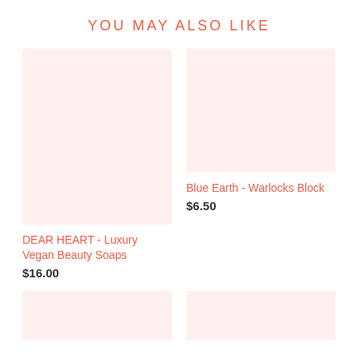YOU MAY ALSO LIKE
[Figure (photo): Product image placeholder - light pink/blush background rectangle for DEAR HEART product]
[Figure (photo): Product image placeholder - light pink/blush background rectangle for Blue Earth product]
Blue Earth - Warlocks Block
$6.50
DEAR HEART - Luxury Vegan Beauty Soaps
$16.00
[Figure (photo): Product image placeholder - light pink/blush background rectangle, partial view at bottom left]
[Figure (photo): Product image placeholder - light pink/blush background rectangle, partial view at bottom right]